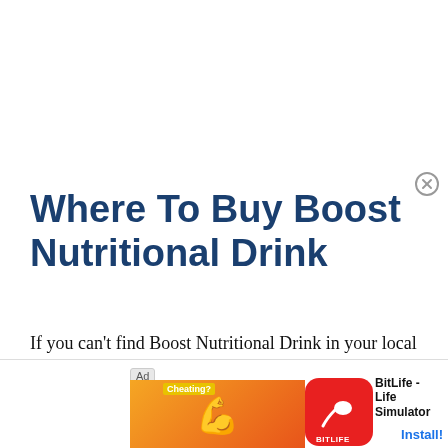Where To Buy Boost Nutritional Drink
If you can't find Boost Nutritional Drink in your local grocery store, coffee shop, drug store, or warehouse club, you may want to check online. In fact, like most consumer prod...
[Figure (screenshot): Advertisement banner: BitLife - Life Simulator app ad with muscle emoji icon and red BitLife logo, showing 'Ad', 'Cheating?' text, and Install button]